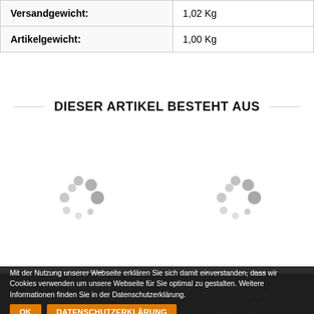| Versandgewicht: | 1,02 Kg |
| Artikelgewicht: | 1,00 Kg |
DIESER ARTIKEL BESTEHT AUS
[Figure (other): Two loading spinner animations side by side, gray dots arranged in a circular pattern indicating loading state]
1 x Netsys HUT-Schienenmontage-Montageplatte für NV-...
1 x Netsys NV-302 Internet Extend- VDSL2 Modem with Master/Slave DIP Switch; VDSL2 Bridge bis zu 100MBit
Mit der Nutzung unserer Webseite erklären Sie sich damit einverstanden, dass wir Cookies verwenden um unsere Webseite für Sie optimal zu gestalten. Weitere Informationen finden Sie in der Datenschutzerklärung.
OK
DATENSCHUTZERKLÄRUNG